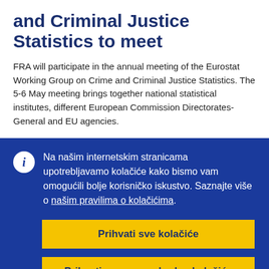and Criminal Justice Statistics to meet
FRA will participate in the annual meeting of the Eurostat Working Group on Crime and Criminal Justice Statistics. The 5-6 May meeting brings together national statistical institutes, different European Commission Directorates-General and EU agencies.
Na našim internetskim stranicama upotrebljavamo kolačiće kako bismo vam omogućili bolje korisničko iskustvo. Saznajte više o našim pravilima o kolačićima.
Prihvati sve kolačiće
Prihvati samo neophodne kolačiće